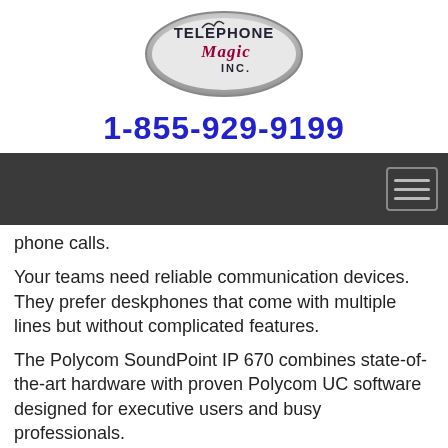[Figure (logo): Telephone Magic Inc. oval logo with silver border]
1-855-929-9199
[Figure (other): Dark navigation bar with hamburger menu icon]
phone calls.
Your teams need reliable communication devices. They prefer deskphones that come with multiple lines but without complicated features.
The Polycom SoundPoint IP 670 combines state-of-the-art hardware with proven Polycom UC software designed for executive users and busy professionals.
[Figure (other): Get a Quote! red button with yellow italic bold text]
| Quantity | Product Description |
| --- | --- |